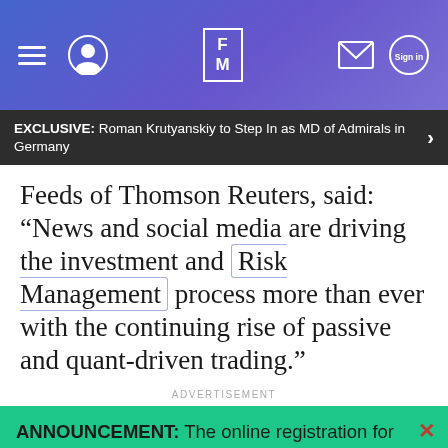[Figure (screenshot): Website header navigation bar with hamburger menu, user avatar icon, FM logo, envelope icon, and sign-in button on a purple-blue gradient background]
EXCLUSIVE: Roman Krutyanskiy to Step In as MD of Admirals in Germany
Feeds of Thomson Reuters, said: “News and social media are driving the investment and Risk Management process more than ever with the continuing rise of passive and quant-driven trading.”
ADVERTISEMENT
ANNOUNCEMENT: The online registration for The London Summit that will take place from the 21st to the 23rd of November is now open!
GET YOUR PASS